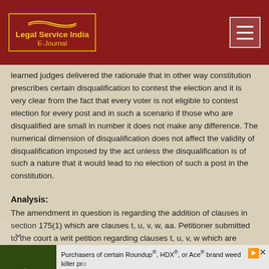Legal Service India E-Journal
learned judges delivered the rationale that in other way constitution prescribes certain disqualification to contest the election and it is very clear from the fact that every voter is not eligible to contest election for every post and in such a scenario if those who are disqualified are small in number it does not make any difference. The numerical dimension of disqualification does not affect the validity of disqualification imposed by the act unless the disqualification is of such a nature that it would lead to no election of such a post in the constitution.
Analysis:
The amendment in question is regarding the addition of clauses in section 175(1) which are clauses t, u, v, w, aa. Petitioner submitted to the court a writ petition regarding clauses t, u, v, w which are defined in the following:
[Figure (photo): Advertisement banner: Purchasers of certain Roundup®, HDX®, or Ace® brand weed killer products may be eligible for a cash payment from a class action settlement. Visit www.WeedKillerAdSettlement.com to learn more.]